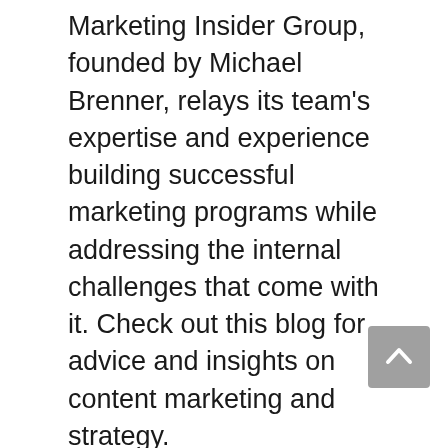Marketing Insider Group, founded by Michael Brenner, relays its team's expertise and experience building successful marketing programs while addressing the internal challenges that come with it. Check out this blog for advice and insights on content marketing and strategy.
51. Advertising Age: Ad Age is a leader in giving marketers and media professionals the thoughtful analysis, trend evaluations, and inspiration they need to stay ahead. Every content marketer should follow this blog to stay up-to-date in this ever-changing industry.
Continued education and lots of reading help make us better content marketers — we just